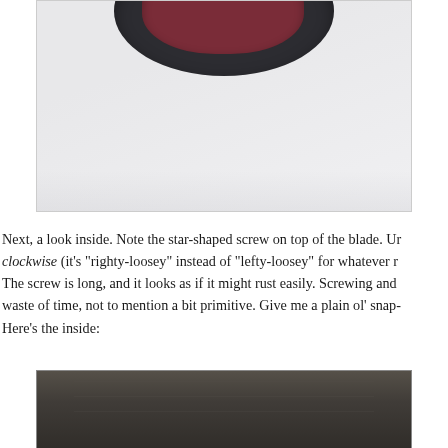[Figure (photo): Partial photo of a dark rounded object (appears to be a blade or tool with a dark outer casing and dark red/maroon inner surface), photographed from above against a light gray/white background. Only the bottom portion of the object is visible.]
Next, a look inside. Note the star-shaped screw on top of the blade. Unscrewing it requires turning it clockwise (it's "righty-loosey" instead of "lefty-loosey" for whatever reason, so be careful!). The screw is long, and it looks as if it might rust easily. Screwing and unscrewing it is a bit of a waste of time, not to mention a bit primitive. Give me a plain ol' snap-in blade holder. Here's the inside:
[Figure (photo): Partial photo showing the inside of the blade/tool holder — dark brownish-gray textured surface visible at the bottom of the page.]